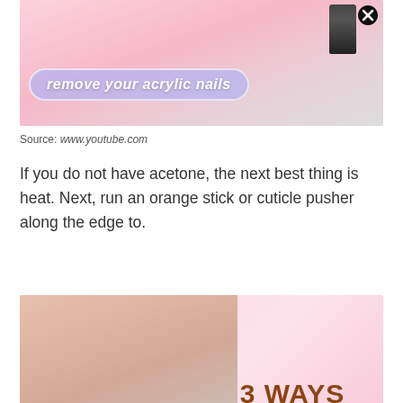[Figure (photo): Photo of hands with pink acrylic nails holding a nail polish bottle, with overlay text 'remove your acrylic nails' in cursive on a purple-blue banner. Close button (X) visible at top.]
Source: www.youtube.com
If you do not have acetone, the next best thing is heat. Next, run an orange stick or cuticle pusher along the edge to.
[Figure (photo): Photo showing hands with gel nail polish next to a red nail drill. Text overlay reads '3 WAYS TO REMOVE GEL POLISH' on a pink background.]
Source: www.pinterest.com
Can nail drill bits be sharpened? Cleaning under the free edge with a drill bit is one